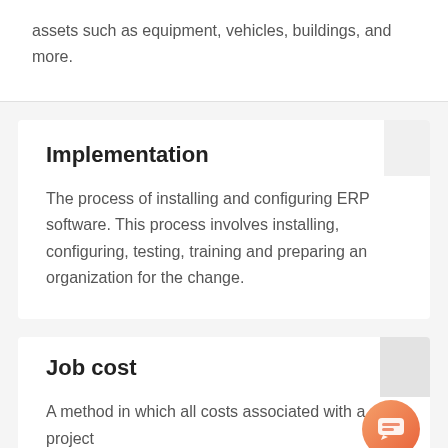assets such as equipment, vehicles, buildings, and more.
Implementation
The process of installing and configuring ERP software. This process involves installing, configuring, testing, training and preparing an organization for the change.
Job cost
A method in which all costs associated with a project